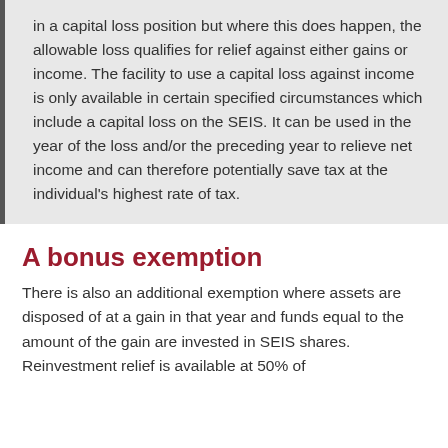in a capital loss position but where this does happen, the allowable loss qualifies for relief against either gains or income. The facility to use a capital loss against income is only available in certain specified circumstances which include a capital loss on the SEIS. It can be used in the year of the loss and/or the preceding year to relieve net income and can therefore potentially save tax at the individual's highest rate of tax.
A bonus exemption
There is also an additional exemption where assets are disposed of at a gain in that year and funds equal to the amount of the gain are invested in SEIS shares. Reinvestment relief is available at 50% of